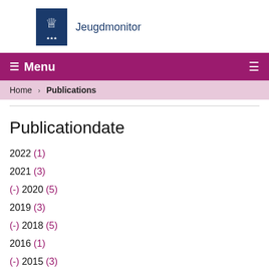Jeugdmonitor
☰ Menu
Home › Publications
Publicationdate
2022 (1)
2021 (3)
(-) 2020 (5)
2019 (3)
(-) 2018 (5)
2016 (1)
(-) 2015 (3)
2014 (2)
2013 (2)
2012 (1)